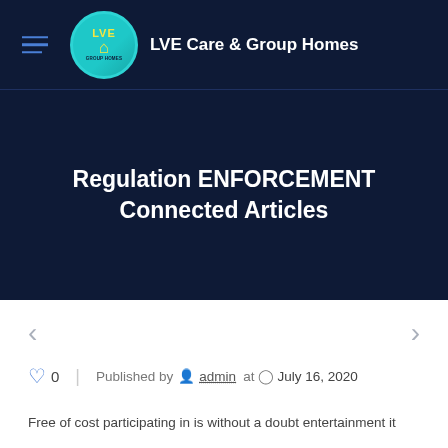LVE Care & Group Homes
Regulation ENFORCEMENT Connected Articles
0   Published by admin at  July 16, 2020
Free of cost participating in is without a doubt entertainment it